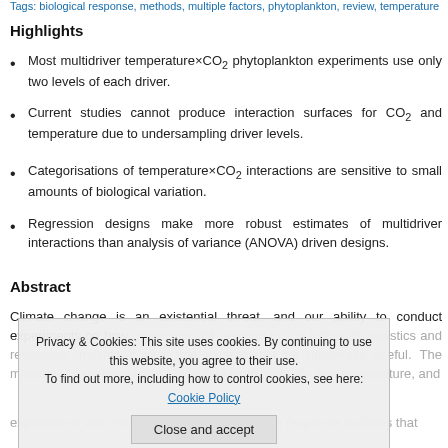Tags: biological response, methods, multiple factors, phytoplankton, review, temperature
Highlights
Most multidriver temperature×CO₂ phytoplankton experiments use only two levels of each driver.
Current studies cannot produce interaction surfaces for CO₂ and temperature due to undersampling driver levels.
Categorisations of temperature×CO₂ interactions are sensitive to small amounts of biological variation.
Regression designs make more robust estimates of multidriver interactions than analysis of variance (ANOVA) driven designs.
Abstract
Climate change is an existential threat, and our ability to conduct experiments on how organisms will respond to it is limited by logistics and resources, making it vital that experiments be maximally useful. The majority of experiments on phytoplankton and CO₂ and temperature, and future populations, we need a mechanistic and generalisable explanation of how phytoplankton respond to concurrent changes in temperature and CO₂. experiments with more driver levels, to produce response surfaces that